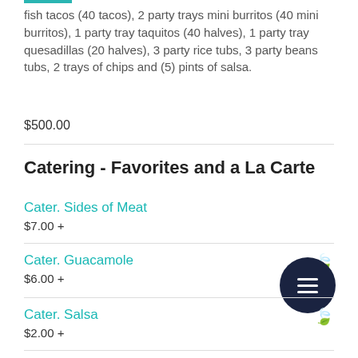fish tacos (40 tacos), 2 party trays mini burritos (40 mini burritos), 1 party tray taquitos (40 halves), 1 party tray quesadillas (20 halves), 3 party rice tubs, 3 party beans tubs, 2 trays of chips and (5) pints of salsa.
$500.00
Catering - Favorites and a La Carte
Cater. Sides of Meat
$7.00 +
Cater. Guacamole
$6.00 +
Cater. Salsa
$2.00 +